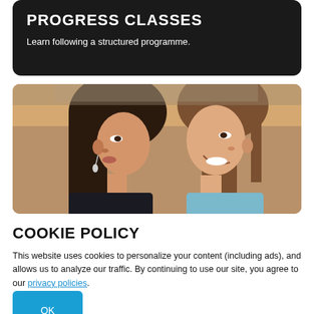PROGRESS CLASSES
Learn following a structured programme.
[Figure (photo): Two young women facing each other and talking, appearing to have a friendly conversation. One has long dark hair in profile on the left, the other smiles facing her on the right with light brown hair.]
COOKIE POLICY
This website uses cookies to personalize your content (including ads), and allows us to analyze our traffic. By continuing to use our site, you agree to our privacy policies.